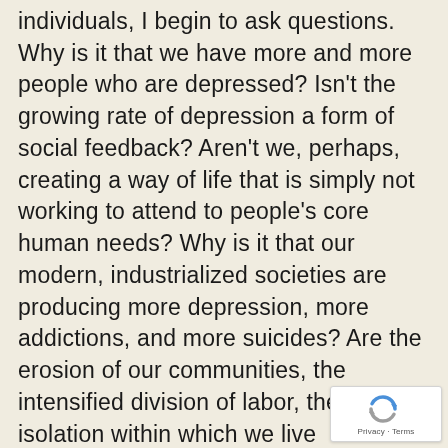individuals, I begin to ask questions. Why is it that we have more and more people who are depressed? Isn't the growing rate of depression a form of social feedback? Aren't we, perhaps, creating a way of life that is simply not working to attend to people's core human needs? Why is it that our modern, industrialized societies are producing more depression, more addictions, and more suicides? Are the erosion of our communities, the intensified division of labor, the growing isolation within which we live responsible? Or is it the change to our physical environment? None of these questions can be asked and answered if we continue to medicate ourselves
[Figure (logo): reCAPTCHA badge with spinning arrow logo and Privacy - Terms text]